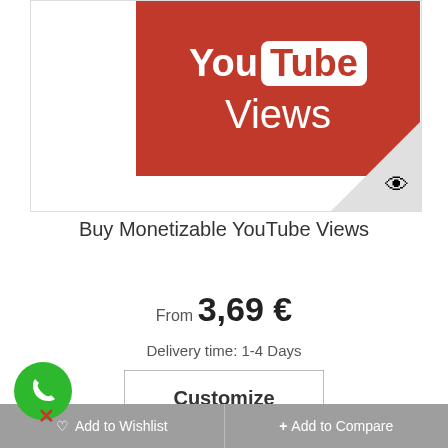[Figure (logo): YouTube Views banner image with red background, YouTube logo (You + Tube in white box), and 'Views' text in white. Bottom-right corner has a grey triangle with an eye icon.]
Buy Monetizable YouTube Views
From 3,69 €
Delivery time: 1-4 Days
Customize
In Stock
♡ Add to Wishlist   + Add to Compare